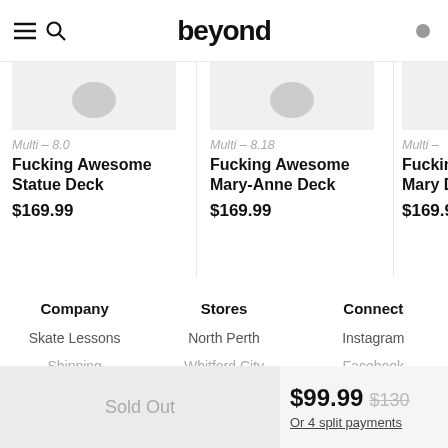beyond
Multi – 8.0
Fucking Awesome Statue Deck
$169.99
Multi – 8.18
Fucking Awesome Mary-Anne Deck
$169.99
Multi –
Fucking
Mary D
$169.9
Company
Stores
Connect
Skate Lessons
North Perth
Instagram
Shipping
Whitford City
Facebook
Sold Out
$99.99  $130
Or 4 split payments